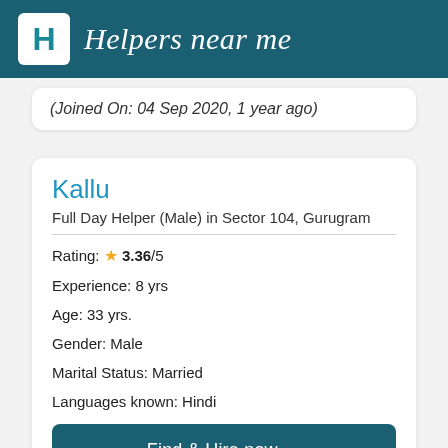Helpers near me
(Joined On: 04 Sep 2020, 1 year ago)
Kallu
Full Day Helper (Male) in Sector 104, Gurugram
Rating: ★ 3.36/5
Experience: 8 yrs
Age: 33 yrs.
Gender: Male
Marital Status: Married
Languages known: Hindi
Find & Hire now →
Salary Expected: ₹14,000/-